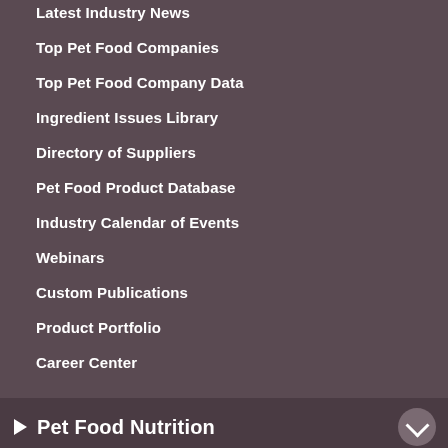Latest Industry News
Top Pet Food Companies
Top Pet Food Company Data
Ingredient Issues Library
Directory of Suppliers
Pet Food Product Database
Industry Calendar of Events
Webinars
Custom Publications
Product Portfolio
Career Center
Pet Food Nutrition
Pet Food Ingredients
Palatability